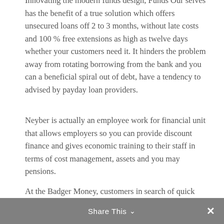Innovating the modern funds design, Funds Our selves has the benefit of a true solution which offers unsecured loans off 2 to 3 months, without late costs and 100 % free extensions as high as twelve days whether your customers need it. It hinders the problem away from rotating borrowing from the bank and you can a beneficial spiral out of debt, have a tendency to advised by payday loan providers.
Neyber is actually an employee work for financial unit that allows employers so you can provide discount finance and gives economic training to their staff in terms of cost management, assets and you may pensions.
At the Badger Money, customers in search of quick unsecured loans are supplied products based their credit history, where those with a good credit score is provided unsecured otherwise personal fund – and you will less than perfect credit people will be presented
Share This ∨ ✕